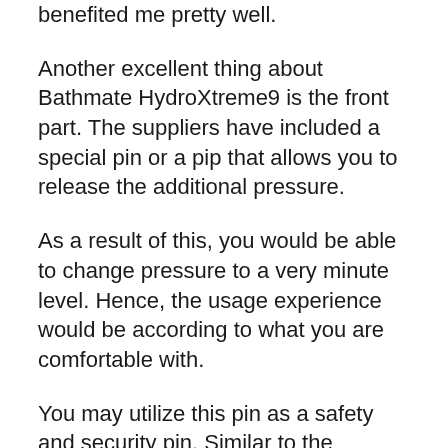benefited me pretty well.
Another excellent thing about Bathmate HydroXtreme9 is the front part. The suppliers have included a special pin or a pip that allows you to release the additional pressure.
As a result of this, you would be able to change pressure to a very minute level. Hence, the usage experience would be according to what you are comfortable with.
You may utilize this pin as a safety and security pin. Similar to the appropriate usage, there are really few possibilities of any kind of type of damage to your penis.
Exactly How To Utilize Bathmate